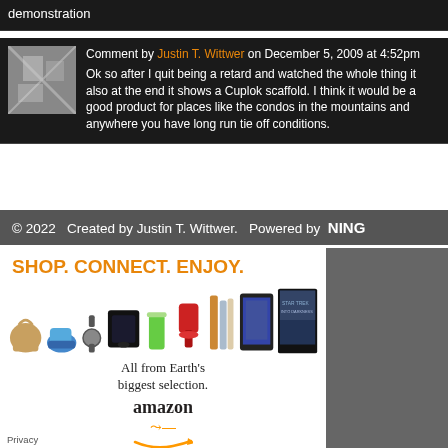demonstration
Comment by Justin T. Wittwer on December 5, 2009 at 4:52pm
Ok so after I quit being a retard and watched the whole thing it also at the end it shows a Cuplok scaffold. I think it would be a good product for places like the condos in the mountains and anywhere you have long run tie off conditions.
© 2022   Created by Justin T. Wittwer.   Powered by  NING
[Figure (infographic): Amazon advertisement showing products (bag, gaming console, mixer, kindle tablets, Star Trek movie) with text SHOP. CONNECT. ENJOY. All from Earth's biggest selection. amazon]
Privacy